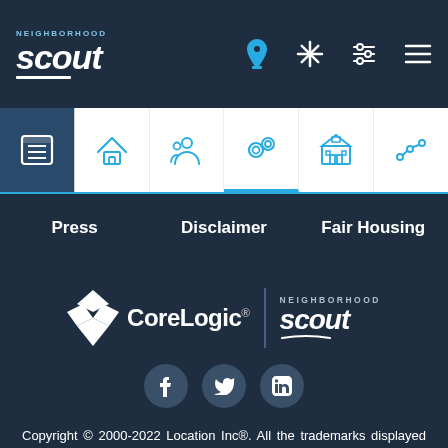[Figure (screenshot): NeighborhoodScout top navigation bar with logo and icons]
[Figure (screenshot): Icon tab bar with overview, housing, people, crime, schools, trends icons]
Press    Disclaimer    Fair Housing
[Figure (logo): CoreLogic | NeighborhoodScout combined logo]
[Figure (screenshot): Social media icons: Facebook, Twitter, LinkedIn]
Copyright © 2000-2022 Location Inc®. All the trademarks displayed on this page are the property of